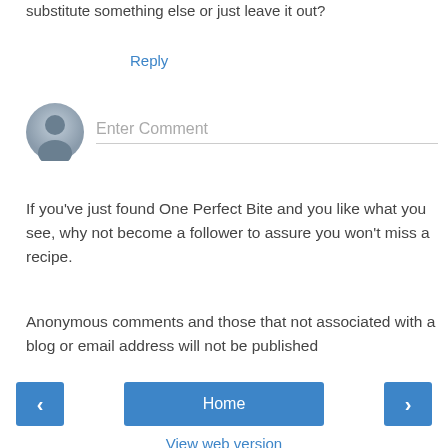substitute something else or just leave it out?
Reply
[Figure (other): User avatar placeholder circle with silhouette icon, gray gradient]
Enter Comment
If you've just found One Perfect Bite and you like what you see, why not become a follower to assure you won't miss a recipe.
Anonymous comments and those that not associated with a blog or email address will not be published
< Home >
View web version
Powered by Blogger.